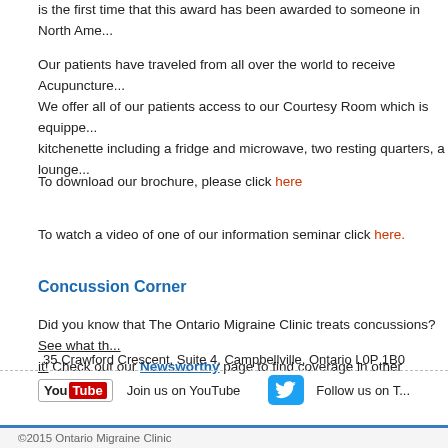is the first time that this award has been awarded to someone in North Ame...
Our patients have traveled from all over the world to receive Acupuncture... We offer all of our patients access to our Courtesy Room which is equipped... kitchenette including a fridge and microwave, two resting quarters, a lounge...
To download our brochure, please click here
To watch a video of one of our information seminar click here.
Concussion Corner
Did you know that The Ontario Migraine Clinic treats concussions? See what the... it! Check out our Newsworthy page to find coverage in other publications.
Join us on YouTube   Follow us on T...
35 Crawford Crescent, Suite 4, Campbellville, Ontario L0P 1B0
©2015 Ontario Migraine Clinic